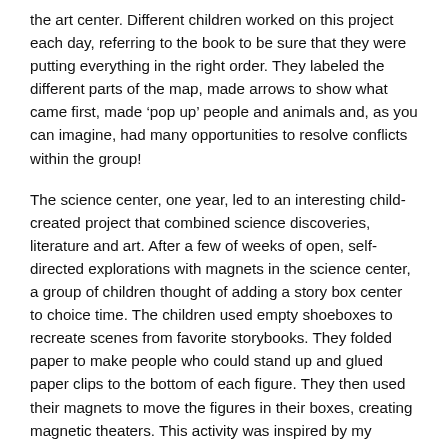the art center. Different children worked on this project each day, referring to the book to be sure that they were putting everything in the right order. They labeled the different parts of the map, made arrows to show what came first, made 'pop up' people and animals and, as you can imagine, had many opportunities to resolve conflicts within the group!
The science center, one year, led to an interesting child-created project that combined science discoveries, literature and art. After a few of weeks of open, self-directed explorations with magnets in the science center, a group of children thought of adding a story box center to choice time. The children used empty shoeboxes to recreate scenes from favorite storybooks. They folded paper to make people who could stand up and glued paper clips to the bottom of each figure. They then used their magnets to move the figures in their boxes, creating magnetic theaters. This activity was inspired by my daughter's store-bought magnetic theater (she